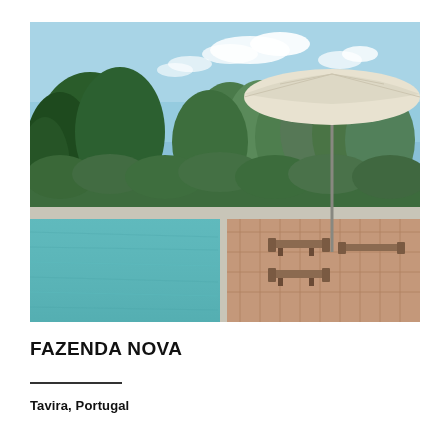[Figure (photo): Outdoor swimming pool with turquoise water in the foreground, terracotta-tiled pool deck with sun loungers and a large cream parasol/umbrella in the middle, surrounded by lush green olive trees and hedges under a blue sky with scattered white clouds.]
FAZENDA NOVA
Tavira, Portugal